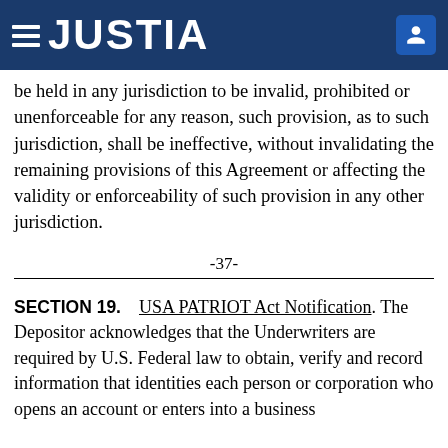JUSTIA
be held in any jurisdiction to be invalid, prohibited or unenforceable for any reason, such provision, as to such jurisdiction, shall be ineffective, without invalidating the remaining provisions of this Agreement or affecting the validity or enforceability of such provision in any other jurisdiction.
-37-
SECTION 19.    USA PATRIOT Act Notification. The Depositor acknowledges that the Underwriters are required by U.S. Federal law to obtain, verify and record information that identities each person or corporation who opens an account or enters into a business